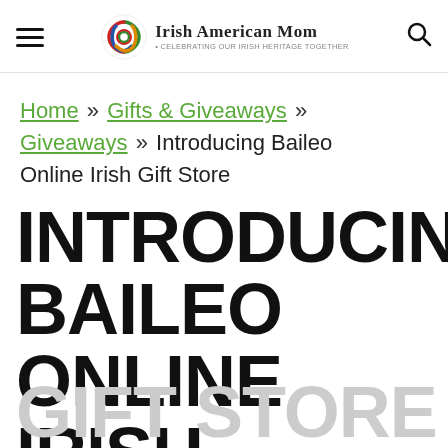Irish American Mom - Celebrating Our Irish Heritage Together
Home » Gifts & Giveaways » Giveaways » Introducing Baileo Online Irish Gift Store
INTRODUCING BAILEO ONLINE IRISH GIFT STORE